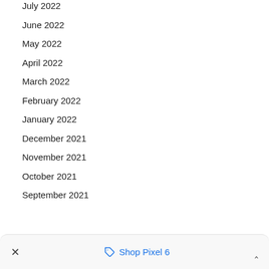July 2022
June 2022
May 2022
April 2022
March 2022
February 2022
January 2022
December 2021
November 2021
October 2021
September 2021
✕   🏷 Shop Pixel 6   ∧